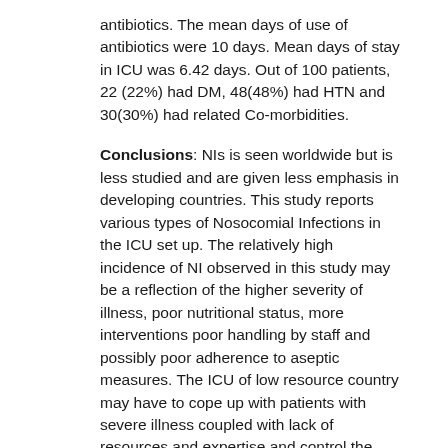antibiotics. The mean days of use of antibiotics were 10 days. Mean days of stay in ICU was 6.42 days. Out of 100 patients, 22 (22%) had DM, 48(48%) had HTN and 30(30%) had related Co-morbidities.
Conclusions: NIs is seen worldwide but is less studied and are given less emphasis in developing countries. This study reports various types of Nosocomial Infections in the ICU set up. The relatively high incidence of NI observed in this study may be a reflection of the higher severity of illness, poor nutritional status, more interventions poor handling by staff and possibly poor adherence to aseptic measures. The ICU of low resource country may have to cope up with patients with severe illness coupled with lack of resources and expertise and control the nosocomial infection.